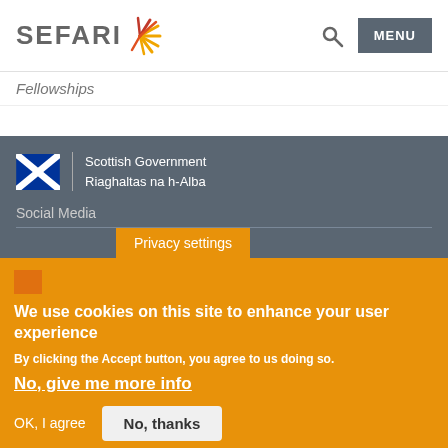[Figure (logo): SEFARI logo with starburst icon in orange and red]
MENU
Fellowships
[Figure (logo): Scottish Government / Riaghaltas na h-Alba logo with Saltire flag]
Social Media
Privacy settings
We use cookies on this site to enhance your user experience
By clicking the Accept button, you agree to us doing so.
No, give me more info
OK, I agree
No, thanks